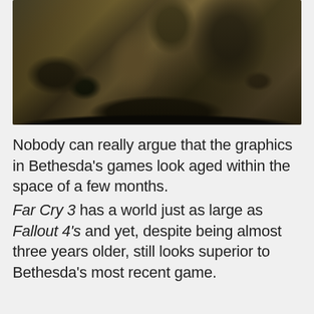[Figure (screenshot): A dark, muted screenshot from a video game showing a post-apocalyptic or ruined outdoor landscape with rocks, debris, dead trees, and a gloomy overcast atmosphere. The scene features a large broken tree stump in the center-right area.]
Nobody can really argue that the graphics in Bethesda's games look aged within the space of a few months.
Far Cry 3 has a world just as large as Fallout 4's and yet, despite being almost three years older, still looks superior to Bethesda's most recent game.